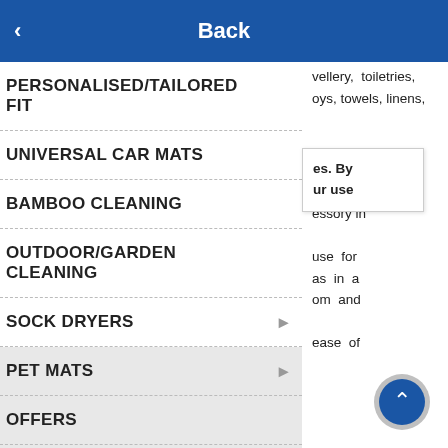Back
PERSONALISED/TAILORED FIT
UNIVERSAL CAR MATS
BAMBOO CLEANING
OUTDOOR/GARDEN CLEANING
SOCK DRYERS
PET MATS
OFFERS
TRADE
vellery, toiletries, oys, towels, linens,
ardrobes essory in use for as in a om and ease of
es. By ur use